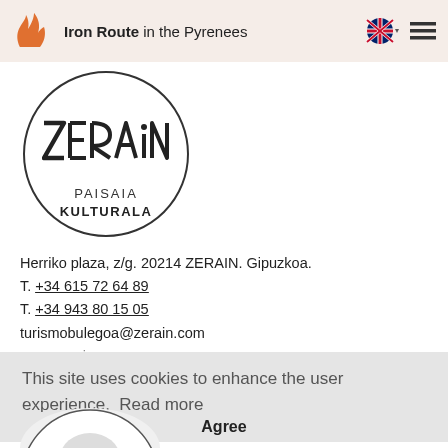Iron Route in the Pyrenees
[Figure (logo): Zerain Paisaia Kulturala circular logo with stylized text inside a circle]
Herriko plaza, z/g. 20214 ZERAIN. Gipuzkoa.
T. +34 615 72 64 89
T. +34 943 80 15 05
turismobulegoa@zerain.com
www.zerain.eus
This site uses cookies to enhance the user experience.  Read more
Agree
[Figure (logo): Partial circular logo visible at bottom of page]